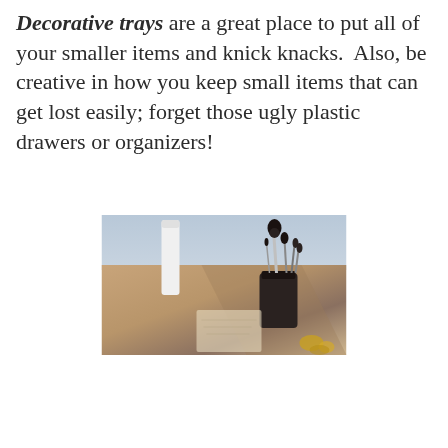Decorative trays are a great place to put all of your smaller items and knick knacks. Also, be creative in how you keep small items that can get lost easily; forget those ugly plastic drawers or organizers!
[Figure (photo): Photo of makeup brushes in a dark cup/holder on a wooden surface, with jewelry visible in the background]
Privacy & Cookies: This site uses cookies. By continuing to use this website, you agree to their use.
To find out more, including how to control cookies, see here: Cookie Policy
Close and accept